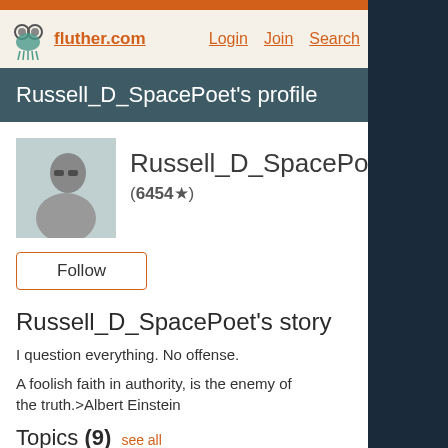fluther.com   Login   Join   Search
Russell_D_SpacePoet's profile
Russell_D_SpacePoet (6454★)
Follow
Russell_D_SpacePoet's story
I question everything. No offense.
A foolish faith in authority, is the enemy of the truth.>Albert Einstein
Topics (9)  see all
astronomy
trivia
video gaming
UFOs